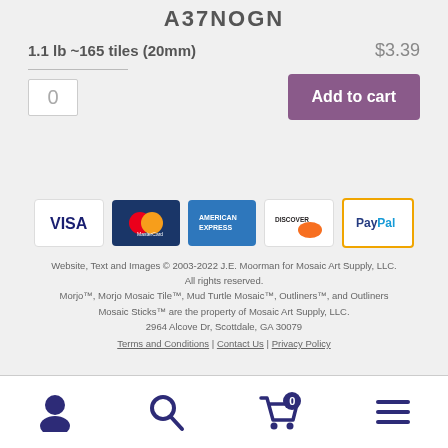A37NOGN
1.1 lb ~165 tiles (20mm)   $3.39
0
Add to cart
[Figure (logo): Payment method icons: Visa, MasterCard, American Express, Discover, PayPal]
Website, Text and Images © 2003-2022 J.E. Moorman for Mosaic Art Supply, LLC. All rights reserved. Morjo™, Morjo Mosaic Tile™, Mud Turtle Mosaic™, Outliners™, and Outliners Mosaic Sticks™ are the property of Mosaic Art Supply, LLC. 2964 Alcove Dr, Scottdale, GA 30079
Terms and Conditions | Contact Us | Privacy Policy
Navigation icons: user, search, cart (0), menu